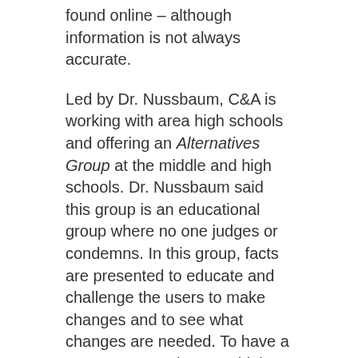found online – although information is not always accurate.
Led by Dr. Nussbaum, C&A is working with area high schools and offering an Alternatives Group at the middle and high schools. Dr. Nussbaum said this group is an educational group where no one judges or condemns. In this group, facts are presented to educate and challenge the users to make changes and to see what changes are needed. To have a group, Dr. Nussbaum said the group must have four people in the group and the group meets for six sessions. The group will meet for three days after school, for two weeks. The schools are using this group as an alternative to suspension or other consequences.